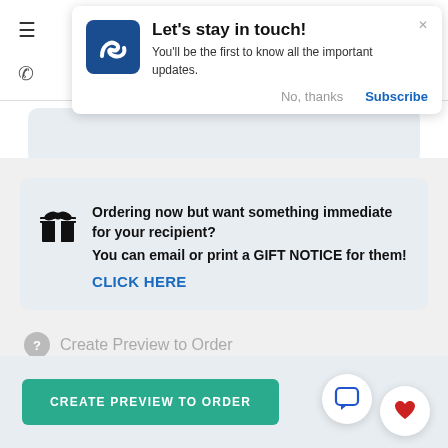[Figure (screenshot): Browser notification popup: Let's stay in touch! with logo, subscribe button, and No thanks option]
Ordering now but want something immediate for your recipient? You can email or print a GIFT NOTICE for them! CLICK HERE
Create Preview to Order
[Figure (screenshot): CREATE PREVIEW TO ORDER teal button with chat and heart circle icons]